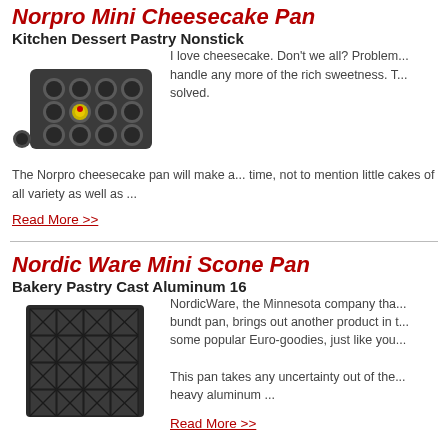Norpro Mini Cheesecake Pan
Kitchen Dessert Pastry Nonstick
[Figure (photo): Photo of a dark nonstick mini cheesecake pan with multiple round wells, one containing a small yellow dessert with red topping, and a loose round disc beside the pan.]
I love cheesecake. Don't we all? Problem... handle any more of the rich sweetness. T... solved.
The Norpro cheesecake pan will make a... time, not to mention little cakes of all variety as well as ...
Read More >>
Nordic Ware Mini Scone Pan
Bakery Pastry Cast Aluminum 16
[Figure (photo): Photo of a dark cast aluminum mini scone pan with triangular wedge-shaped wells arranged in a grid pattern forming a square shape.]
NordicWare, the Minnesota company tha... bundt pan, brings out another product in t... some popular Euro-goodies, just like you...
This pan takes any uncertainty out of the... heavy aluminum ...
Read More >>